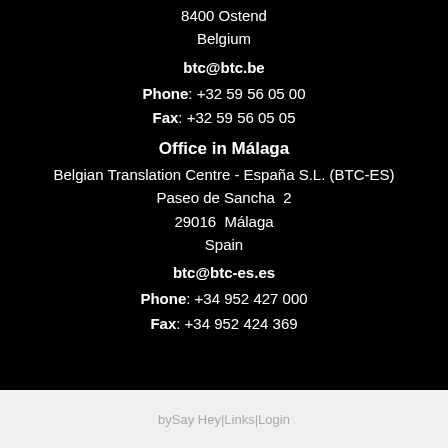8400 Ostend
Belgium
btc@btc.be
Phone: +32 59 56 05 00
Fax: +32 59 56 05 05
Office in Málaga
Belgian Translation Centre - España S.L. (BTC-ES)
Paseo de Sancha  2
29016  Málaga
Spain
btc@btc-es.es
Phone: +34 952 427 000
Fax: +34 952 424 369
by Say Hey | Links | Login